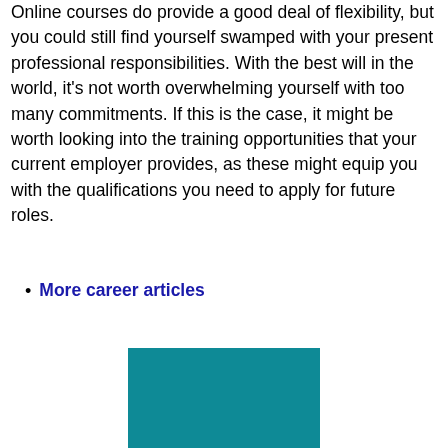Online courses do provide a good deal of flexibility, but you could still find yourself swamped with your present professional responsibilities. With the best will in the world, it's not worth overwhelming yourself with too many commitments. If this is the case, it might be worth looking into the training opportunities that your current employer provides, as these might equip you with the qualifications you need to apply for future roles.
More career articles
[Figure (other): Teal/dark cyan colored rectangular image block at the bottom of the page]